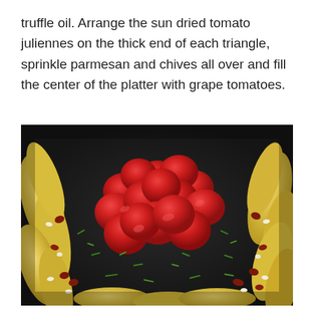truffle oil. Arrange the sun dried tomato juliennes on the thick end of each triangle, sprinkle parmesan and chives all over and fill the center of the platter with grape tomatoes.
[Figure (photo): Close-up food photograph of a platter with yellow polenta or pastry triangles topped with grape tomatoes (red), sun-dried tomatoes (dark red), chives (green herbs), and white cheese crumbles, arranged on a dark surface.]